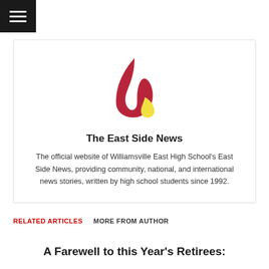[Figure (logo): Hamburger menu button, three white horizontal lines on black background]
[Figure (logo): The East Side News logo: a red and yellow flame/sail shape]
The East Side News
The official website of Williamsville East High School's East Side News, providing community, national, and international news stories, written by high school students since 1992.
RELATED ARTICLES   MORE FROM AUTHOR
A Farewell to this Year's Retirees: